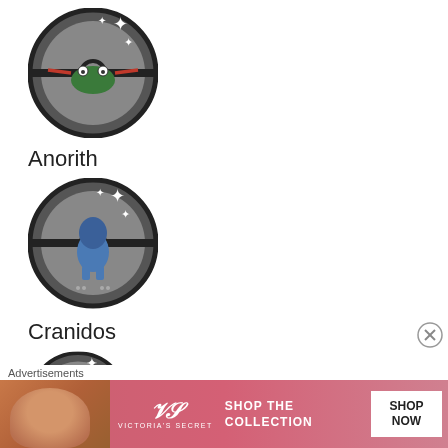[Figure (illustration): Anorith Pokemon GO shiny badge circle icon with sparkles, grey circular background]
Anorith
[Figure (illustration): Cranidos Pokemon GO shiny badge circle icon with sparkles, grey circular background]
Cranidos
[Figure (illustration): Partially visible Pokemon GO shiny badge circle icon with sparkles at bottom of page]
Advertisements
[Figure (photo): Victoria's Secret advertisement banner with woman and pink background, text: SHOP THE COLLECTION, SHOP NOW, VICTORIA'S SECRET logo]